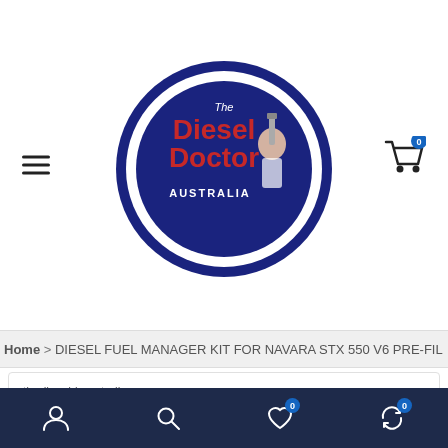[Figure (logo): The Diesel Doctor Australia circular logo with red and blue text and illustration]
Home > DIESEL FUEL MANAGER KIT FOR NAVARA STX 550 V6 PRE-FIL
thedieseldraustralia
DIESEL FUEL MANAGER KIT FOR NAVARA STX 550 V6 PRE-FILTER KIT FM606DPK
Code: FM606DPK   Add Your Review